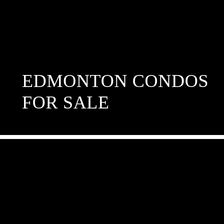EDMONTON CONDOS FOR SALE
[Figure (photo): Black background lower panel, no visible content]